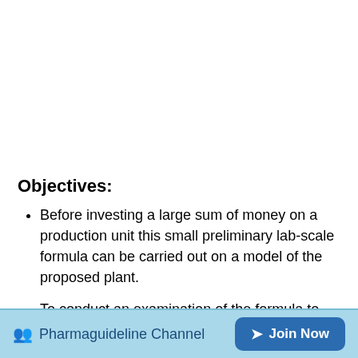Objectives:
Before investing a large sum of money on a production unit this small preliminary lab-scale formula can be carried out on a model of the proposed plant.
To conduct an examination of the formula to check its robustness and ability to withstand large scale or Batch-scale production and if process modification is
Pharmaguideline Channel  Join Now